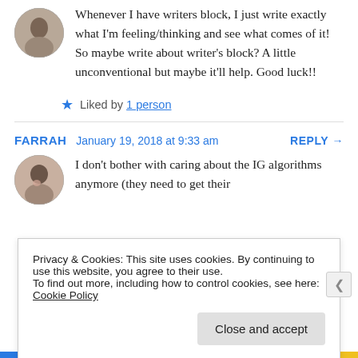Whenever I have writers block, I just write exactly what I'm feeling/thinking and see what comes of it! So maybe write about writer's block? A little unconventional but maybe it'll help. Good luck!!
★ Liked by 1 person
FARRAH  January 19, 2018 at 9:33 am  REPLY →
I don't bother with caring about the IG algorithms anymore (they need to get their
Privacy & Cookies: This site uses cookies. By continuing to use this website, you agree to their use.
To find out more, including how to control cookies, see here: Cookie Policy
Close and accept